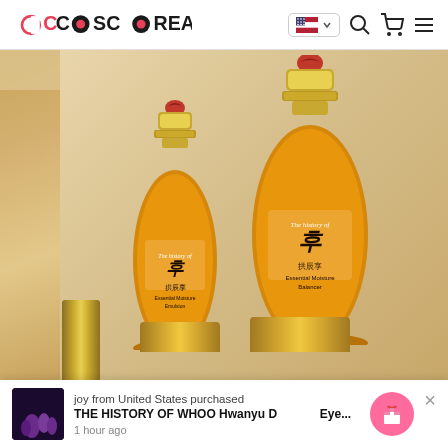CosCorea - logo, language selector, search, cart, menu
[Figure (photo): Two The History of Whoo Essential Moisture skincare bottles (smaller emulsion and larger balancer) with gold and amber-yellow packaging, red logo ornaments on caps, displayed on gold pedestals against a beige/gold background with Korean text banner at top]
joy from United States purchased
THE HISTORY OF WHOO Hwanyu D Eye...
1 hour ago